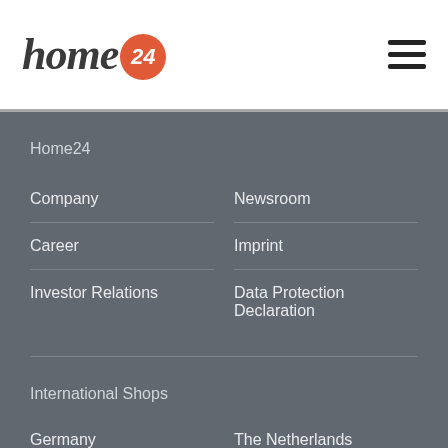[Figure (logo): Home24 logo with italic text and orange circle badge containing '24']
Home24
Company
Newsroom
Career
Imprint
Investor Relations
Data Protection Declaration
International Shops
Germany
The Netherlands